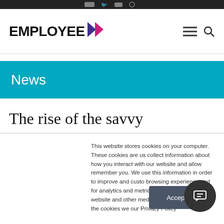EMPLOYEE > (logo with navigation icons)
News
The rise of the savvy
This website stores cookies on your computer. These cookies are used to collect information about how you interact with our website and allow us to remember you. We use this information in order to improve and customize your browsing experience and for analytics and metrics about our visitors on this website and other media. To find out more about the cookies we use, see our Privacy Policy
Accept